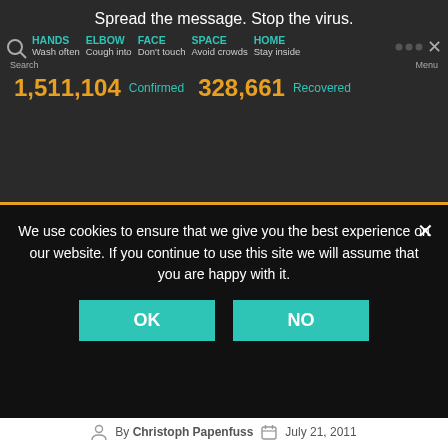Spread the message. Stop the virus.
HANDS Wash often   ELBOW Cough into   FACE Don't touch   SPACE Avoid crowds   HOME Stay inside
1,511,104 Confirmed   328,661 Recovered
We use cookies to ensure that we give you the best experience on our website. If you continue to use this site we will assume that you are happy with it.
OK   NO
By Christoph Papenfuss   July 21, 2011   1 Comment
This past month, I did something I haven't done in a long time: I did not travel. Being
[Figure (photo): Photo of beer mugs (Hofbräu HB branded steins) being held up, with people in background]